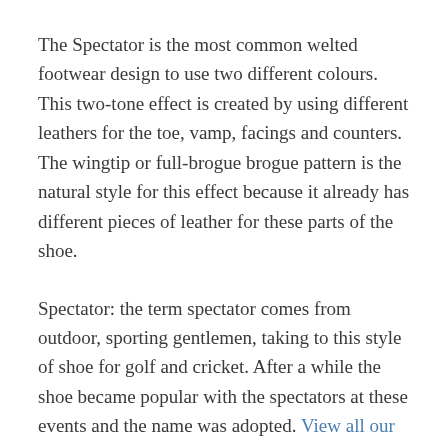The Spectator is the most common welted footwear design to use two different colours. This two-tone effect is created by using different leathers for the toe, vamp, facings and counters. The wingtip or full-brogue brogue pattern is the natural style for this effect because it already has different pieces of leather for these parts of the shoe.
Spectator: the term spectator comes from outdoor, sporting gentlemen, taking to this style of shoe for golf and cricket. After a while the shoe became popular with the spectators at these events and the name was adopted. View all our spectator shoes.
Co-respondent: an alternative name for a two-tone shoe is the co-respondent. This...